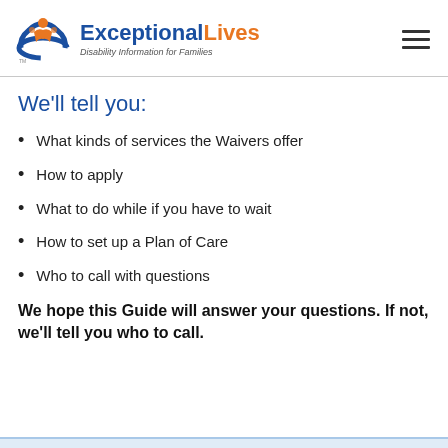ExceptionalLives — Disability Information for Families
We'll tell you:
What kinds of services the Waivers offer
How to apply
What to do while if you have to wait
How to set up a Plan of Care
Who to call with questions
We hope this Guide will answer your questions. If not, we'll tell you who to call.